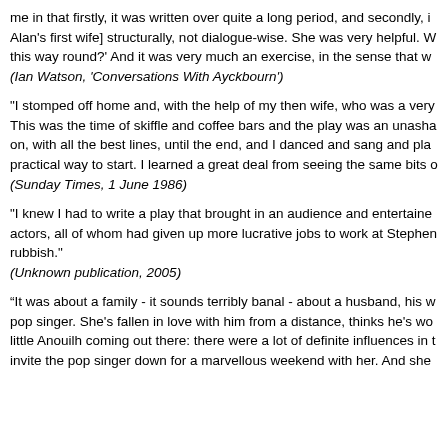me in that firstly, it was written over quite a long period, and secondly, i Alan's first wife] structurally, not dialogue-wise. She was very helpful. W this way round?' And it was very much an exercise, in the sense that w (Ian Watson, 'Conversations With Ayckbourn')
"I stomped off home and, with the help of my then wife, who was a very This was the time of skiffle and coffee bars and the play was an unasha on, with all the best lines, until the end, and I danced and sang and pla practical way to start. I learned a great deal from seeing the same bits o (Sunday Times, 1 June 1986)
"I knew I had to write a play that brought in an audience and entertaine actors, all of whom had given up more lucrative jobs to work at Stephen rubbish." (Unknown publication, 2005)
“It was about a family - it sounds terribly banal - about a husband, his w pop singer. She's fallen in love with him from a distance, thinks he's wo little Anouilh coming out there: there were a lot of definite influences in t invite the pop singer down for a marvellous weekend with her. And she